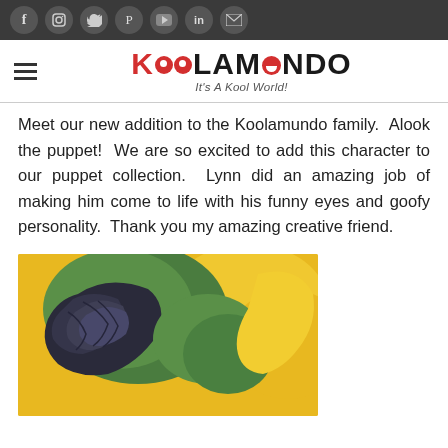Social media icons: Facebook, Instagram, Twitter, Pinterest, YouTube, LinkedIn, Email
KOOLAMUNDO — It's A Kool World!
Meet our new addition to the Koolamundo family. Alook the puppet! We are so excited to add this character to our puppet collection. Lynn did an amazing job of making him come to life with his funny eyes and goofy personality. Thank you my amazing creative friend.
[Figure (photo): Close-up photo of a puppet made of colorful fabric — green, dark navy/black ruffled fabric, and yellow, suggesting a bird or creature puppet.]